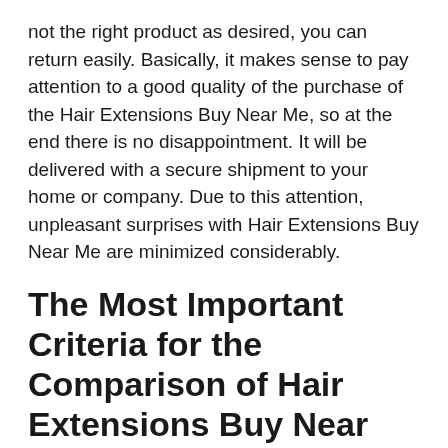not the right product as desired, you can return easily. Basically, it makes sense to pay attention to a good quality of the purchase of the Hair Extensions Buy Near Me, so at the end there is no disappointment. It will be delivered with a secure shipment to your home or company. Due to this attention, unpleasant surprises with Hair Extensions Buy Near Me are minimized considerably.
The Most Important Criteria for the Comparison of Hair Extensions Buy Near Me
In order to be able to define the decisive